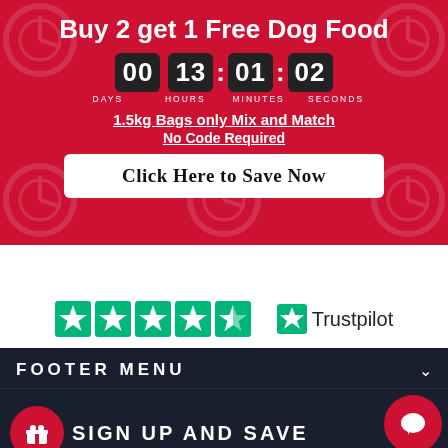Buy 2 get 1 Free Dog Food
00 13:01:02 DAYS HOURS MINUTES SECONDS
1.5kg Bags only Mix and Match
No Code Required
Click Here to Save Now
[Figure (logo): Trustpilot 4.5-star rating with green star icons and Trustpilot logo]
FOOTER MENU
SIGN UP AND SAVE